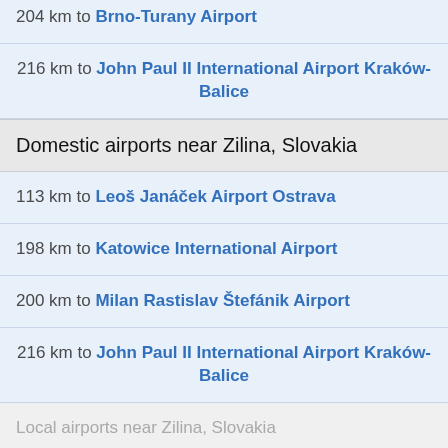204 km to Brno-Turany Airport
216 km to John Paul II International Airport Kraków-Balice
Domestic airports near Zilina, Slovakia
113 km to Leoš Janáček Airport Ostrava
198 km to Katowice International Airport
200 km to Milan Rastislav Štefánik Airport
216 km to John Paul II International Airport Kraków-Balice
Local airports near Zilina, Slovakia